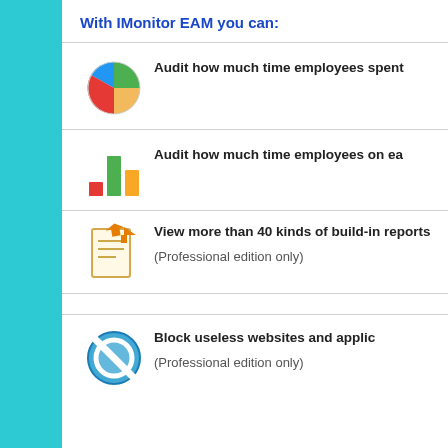With IMonitor EAM you can:
Audit how much time employees spent
Audit how much time employees on ea
View more than 40 kinds of build-in reports
(Professional edition only)
Block useless websites and applic
(Professional edition only)